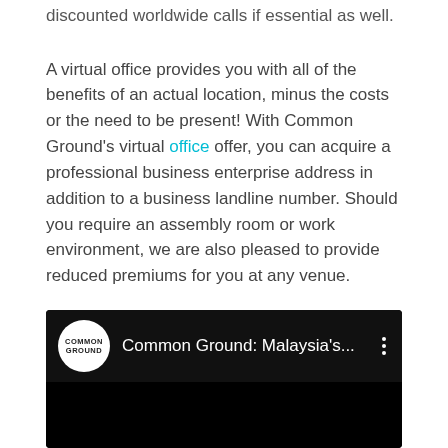discounted worldwide calls if essential as well.
A virtual office provides you with all of the benefits of an actual location, minus the costs or the need to be present! With Common Ground's virtual office offer, you can acquire a professional business enterprise address in addition to a business landline number. Should you require an assembly room or work environment, we are also pleased to provide reduced premiums for you at any venue.
[Figure (screenshot): YouTube-style embedded video player showing Common Ground logo (white circle with COMMON GROUND text) and title 'Common Ground: Malaysia's...' with a three-dot menu icon, on a black background]